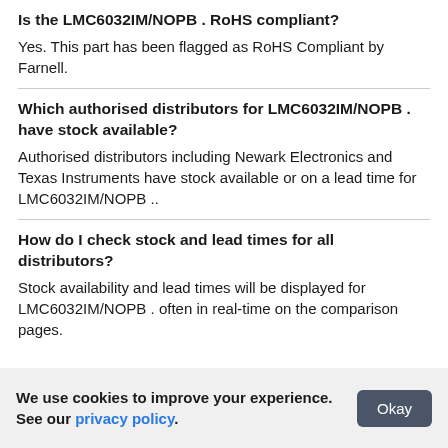Is the LMC6032IM/NOPB . RoHS compliant?
Yes. This part has been flagged as RoHS Compliant by Farnell.
Which authorised distributors for LMC6032IM/NOPB . have stock available?
Authorised distributors including Newark Electronics and Texas Instruments have stock available or on a lead time for LMC6032IM/NOPB ..
How do I check stock and lead times for all distributors?
Stock availability and lead times will be displayed for LMC6032IM/NOPB . often in real-time on the comparison pages.
We use cookies to improve your experience. See our privacy policy.